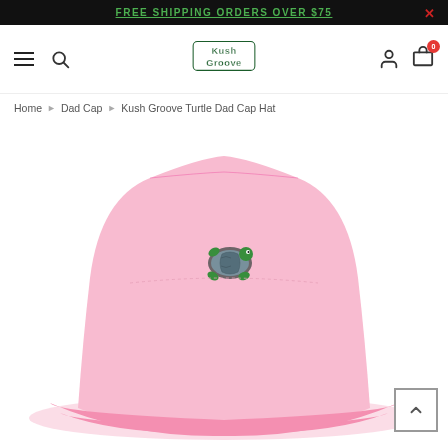FREE SHIPPING ORDERS OVER $75
[Figure (logo): Kush Groove brand logo with graffiti-style lettering in green and dark colors]
Home > Dad Cap > Kush Groove Turtle Dad Cap Hat
[Figure (photo): Pink dad cap hat with embroidered turtle graphic on the front, displayed on a white background]